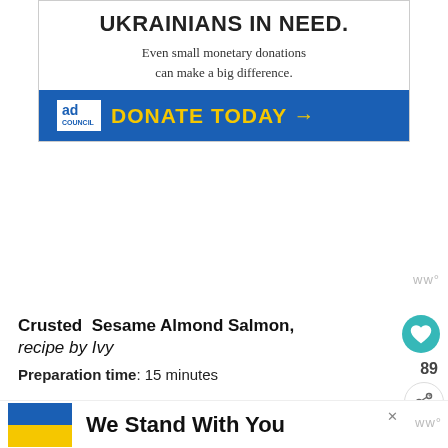[Figure (other): Ad Council advertisement banner for helping Ukrainians in Need. Blue bottom bar with yellow 'DONATE TODAY →' text and Ad Council logo. White top with bold text 'UKRAINIANS IN NEED.' and subtext 'Even small monetary donations can make a big difference.']
Crusted  Sesame Almond Salmon, recipe by Ivy
Preparation time: 15 minutes
Cooking time: 30 minutes
Serves: 3
[Figure (other): Bottom overlay ad banner showing Ukrainian flag and text 'We Stand With You' with Wm° logo and close X button]